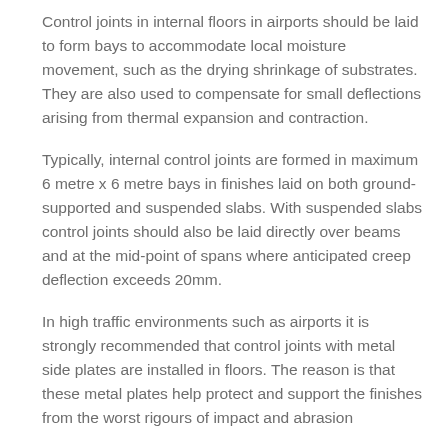Control joints in internal floors in airports should be laid to form bays to accommodate local moisture movement, such as the drying shrinkage of substrates. They are also used to compensate for small deflections arising from thermal expansion and contraction.
Typically, internal control joints are formed in maximum 6 metre x 6 metre bays in finishes laid on both ground-supported and suspended slabs. With suspended slabs control joints should also be laid directly over beams and at the mid-point of spans where anticipated creep deflection exceeds 20mm.
In high traffic environments such as airports it is strongly recommended that control joints with metal side plates are installed in floors. The reason is that these metal plates help protect and support the finishes from the worst rigours of impact and abrasion